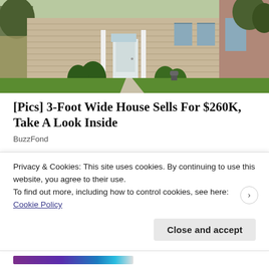[Figure (photo): Exterior photo of a beige/tan two-story colonial-style house with white front door, columns, green shrubs, and a well-maintained lawn on a spring day.]
[Pics] 3-Foot Wide House Sells For $260K, Take A Look Inside
BuzzFond
[Figure (photo): Partially visible second image, mostly gray/gradient placeholder area.]
Privacy & Cookies: This site uses cookies. By continuing to use this website, you agree to their use.
To find out more, including how to control cookies, see here: Cookie Policy
Close and accept